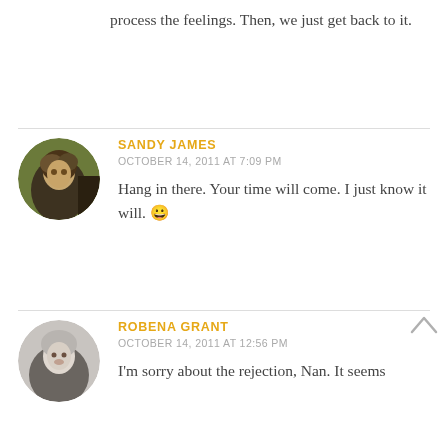process the feelings. Then, we just get back to it.
SANDY JAMES
OCTOBER 14, 2011 AT 7:09 PM
Hang in there. Your time will come. I just know it will. 😀
ROBENA GRANT
OCTOBER 14, 2011 AT 12:56 PM
I'm sorry about the rejection, Nan. It seems